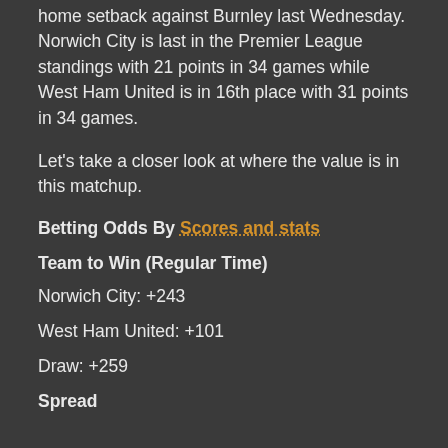home setback against Burnley last Wednesday. Norwich City is last in the Premier League standings with 21 points in 34 games while West Ham United is in 16th place with 31 points in 34 games.
Let's take a closer look at where the value is in this matchup.
Betting Odds By Scores and stats
Team to Win (Regular Time)
Norwich City: +243
West Ham United: +101
Draw: +259
Spread